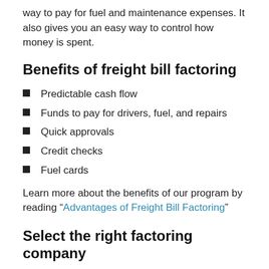way to pay for fuel and maintenance expenses. It also gives you an easy way to control how money is spent.
Benefits of freight bill factoring
Predictable cash flow
Funds to pay for drivers, fuel, and repairs
Quick approvals
Credit checks
Fuel cards
Learn more about the benefits of our program by reading “Advantages of Freight Bill Factoring”
Select the right factoring company